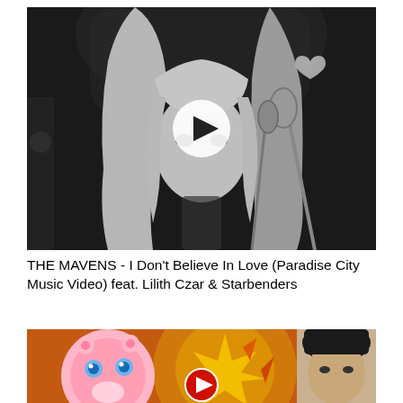[Figure (photo): Black and white photo of a woman with straight blonde hair and bangs in front of a microphone in a recording studio. A white circular play button overlay is centered on the image.]
THE MAVENS - I Don't Believe In Love (Paradise City Music Video) feat. Lilith Czar & Starbenders
[Figure (screenshot): Colorful screenshot showing a pink cartoon Jigglypuff character (Pokemon) on the left and a real man with dark hair on the right, with orange/gold explosion effects in the background and a red/white play button overlay centered near the bottom.]